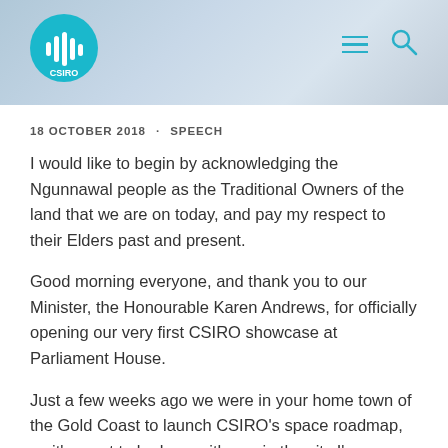CSIRO website header with logo and navigation icons
18 OCTOBER 2018 · SPEECH
I would like to begin by acknowledging the Ngunnawal people as the Traditional Owners of the land that we are on today, and pay my respect to their Elders past and present.
Good morning everyone, and thank you to our Minister, the Honourable Karen Andrews, for officially opening our very first CSIRO showcase at Parliament House.
Just a few weeks ago we were in your home town of the Gold Coast to launch CSIRO's space roadmap, so it's great to be here with you in the city I'm sure we